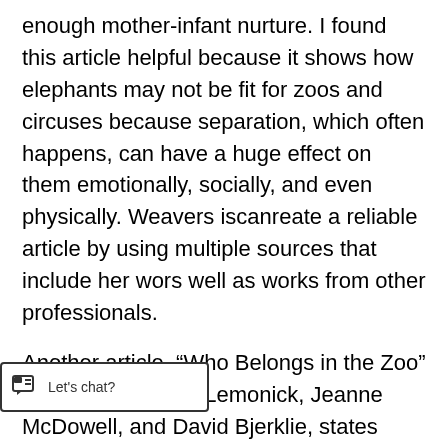enough mother-infant nurture. I found this article helpful because it shows how elephants may not be fit for zoos and circuses because separation, which often happens, can have a huge effect on them emotionally, socially, and even physically. Weavers iscanreate a reliable article by using multiple sources that include her wors well as works from other professionals.
Another article, “Who Belongs in the Zoo” written by Michael Lemonick, Jeanne McDowell, and David Bjerklie, states more about why elephants shouldn’t belong purpose of their article is to show that while some animals are